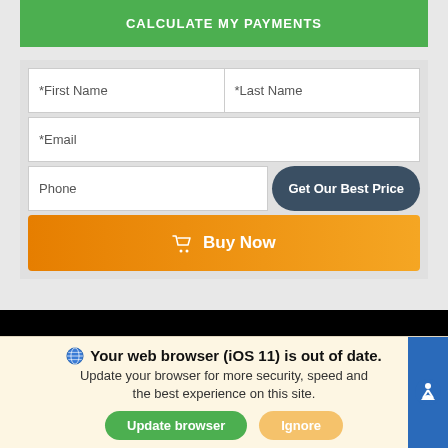[Figure (screenshot): Green 'CALCULATE MY PAYMENTS' button at the top of a web form]
[Figure (screenshot): Web form with First Name, Last Name, Email, Phone fields and 'Get Our Best Price' button]
[Figure (screenshot): Orange gradient 'Buy Now' button with shopping cart icon]
[Figure (screenshot): Black banner area]
We use cookies to optimize our website and our service.
Cookie Policy   Privacy Statement
Your web browser (iOS 11) is out of date. Update your browser for more security, speed and the best experience on this site.
[Figure (screenshot): Update browser and Ignore buttons at the bottom of the page]